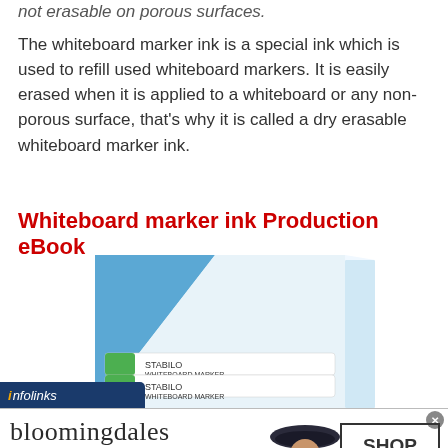not erasable on porous surfaces.
The whiteboard marker ink is a special ink which is used to refill used whiteboard markers. It is easily erased when it is applied to a whiteboard or any non-porous surface, that's why it is called a dry erasable whiteboard marker ink.
Whiteboard marker ink Production eBook
[Figure (photo): Book cover of Whiteboard marker ink Production eBook showing whiteboard markers (STABILO brand) in a box with blue and white cover design]
[Figure (infographic): Bloomingdales advertisement banner with logo, tagline 'View Today's Top Deals!', model in hat, and SHOP NOW button]